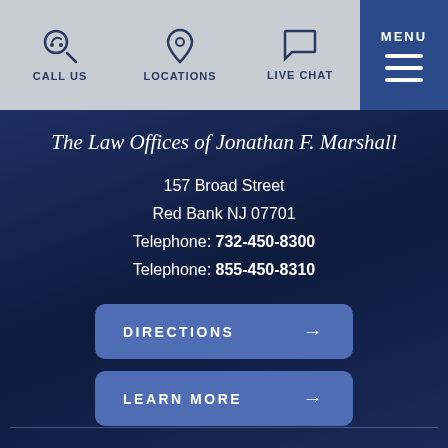CALL US | LOCATIONS | LIVE CHAT | MENU
The Law Offices of Jonathan F. Marshall
157 Broad Street
Red Bank NJ 07701
Telephone: 732-450-8300
Telephone: 855-450-8310
DIRECTIONS →
LEARN MORE →